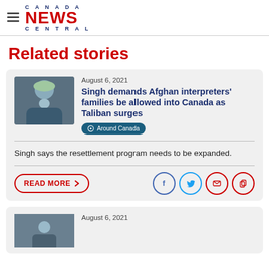CANADA NEWS CENTRAL
Related stories
August 6, 2021
Singh demands Afghan interpreters' families be allowed into Canada as Taliban surges
Around Canada
Singh says the resettlement program needs to be expanded.
READ MORE
August 6, 2021